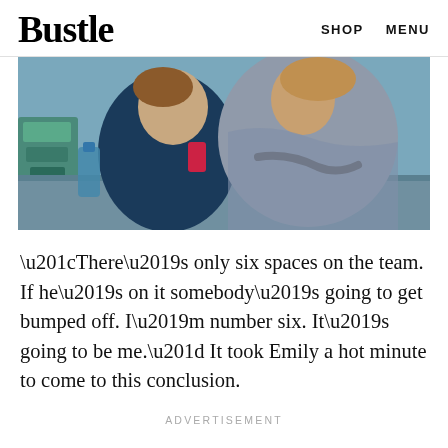Bustle   SHOP   MENU
[Figure (photo): Two women sitting at a table, one wearing a navy top and holding a phone, the other wearing a grey off-shoulder top, with various items on the table in front of them.]
“There’s only six spaces on the team. If he’s on it somebody’s going to get bumped off. I’m number six. It’s going to be me.” It took Emily a hot minute to come to this conclusion.
ADVERTISEMENT